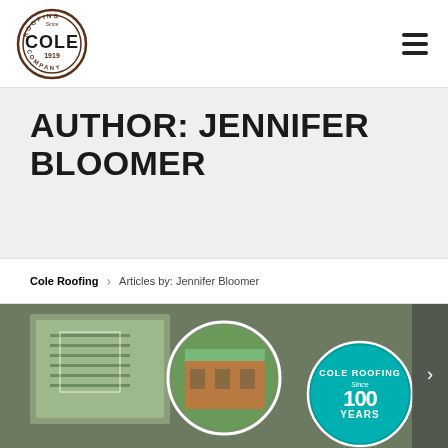[Figure (logo): Cole Roofing Company circular logo with text 'ROOFING Since COLE 1919 COMPANY' in dark brown/maroon on white background]
AUTHOR: JENNIFER BLOOMER
Cole Roofing › Articles by: Jennifer Bloomer
[Figure (photo): Collage of roofing project photos including green roofs, aerial views of buildings, and Cole Roofing 100 Years logo badge on teal background]